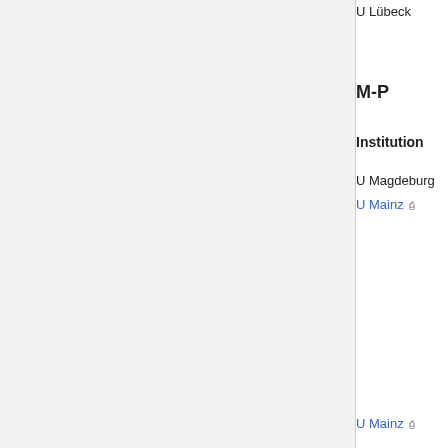U Lübeck    applied/image proc (W3)    Aug 24, 2009
M-P
| Institution | Areas | Apply by | Sh of... |
| --- | --- | --- | --- |
| U Magdeburg | algebra (W2) | expired |  |
| U Mainz | analysis (W2) (Schleinkofer) | May 28, 2009 | To O S Je Iv Ch Fl He O [6 |
| U Mainz | arith geom (W2/tt) | May 4, 2009 |  |
| U Mainz | applied (W1) | expired | O Th Th |